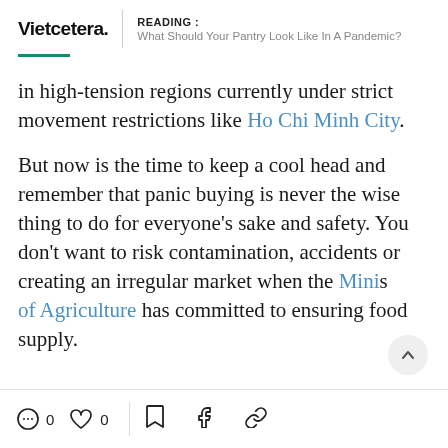Vietcetera. | READING : What Should Your Pantry Look Like In A Pandemic?
in high-tension regions currently under strict movement restrictions like Ho Chi Minh City.
But now is the time to keep a cool head and remember that panic buying is never the wise thing to do for everyone's sake and safety. You don't want to risk contamination, accidents or creating an irregular market when the Ministry of Agriculture has committed to ensuring food supply.
0 comments | 0 likes | bookmark | facebook | link